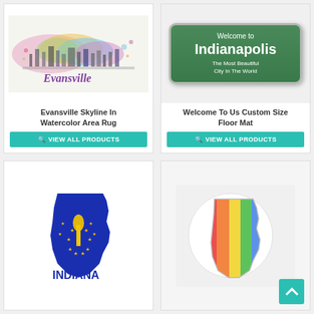[Figure (illustration): Evansville skyline watercolor art with colorful splatter and cursive 'Evansville' text]
Evansville Skyline In Watercolor Area Rug
VIEW ALL PRODUCTS
[Figure (illustration): Green road sign reading 'Welcome to Indianapolis – The Most Beautiful City In The World']
Welcome To Us Custom Size Floor Mat
VIEW ALL PRODUCTS
[Figure (illustration): Indiana state shape filled with blue Indiana state flag design with torch and stars]
[Figure (illustration): Indiana state shape outline with rainbow colored diagonal stripes on circular white background]